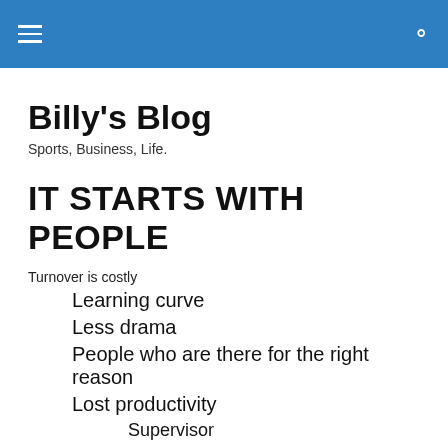Billy's Blog
Sports, Business, Life.
IT STARTS WITH PEOPLE
Turnover is costly
Learning curve
Less drama
People who are there for the right reason
Lost productivity
Supervisor
Position responsibilities
Negative perceptions when people are leaving in large